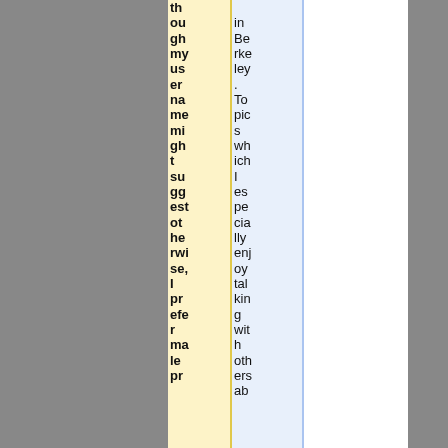though my user name might suggest otherwise, I prefer male pr
in Berkeley. Topics which I especially enjoying talking with others ab